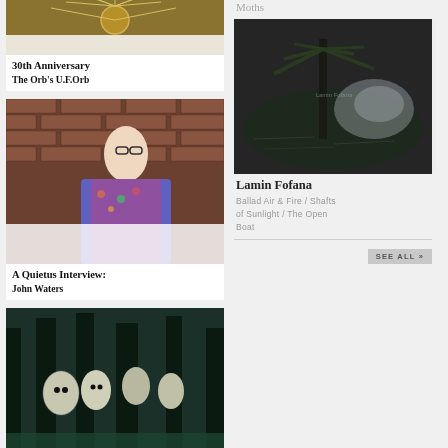[Figure (photo): Album art for The Orb's U.F.Orb, 30th Anniversary — metallic golden spiky orb on dark background]
30th Anniversary
The Orb's U.F.Orb
[Figure (photo): Photo of John Waters — older man in colourful floral blazer standing against a brick wall]
A Quietus Interview:
John Waters
[Figure (photo): Black and white vintage photo of costumed figures in a forest — Quietus Lists: LPs Of 2022 Thus Far]
Quietus Lists:
LPs Of 2022 Thus Far
[Figure (photo): Abstract greyscale swirl image at bottom of left column]
Moths
[Figure (photo): Dark moody photo — reflections of palm trees in puddle, related to Lamin Fofana release]
Lamin Fofana
Ballad Air & Fire / Shafts of Sunlight / The Open Boat
SEE ALL »